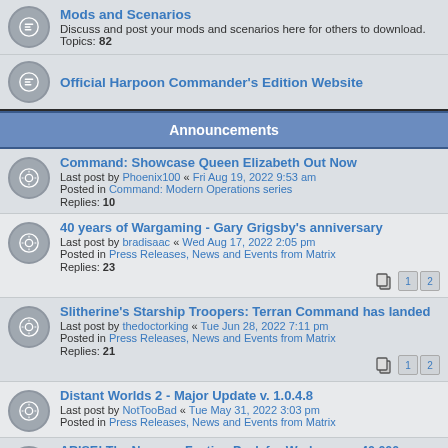Mods and Scenarios
Discuss and post your mods and scenarios here for others to download.
Topics: 82
Official Harpoon Commander's Edition Website
Announcements
Command: Showcase Queen Elizabeth Out Now
Last post by Phoenix100 « Fri Aug 19, 2022 9:53 am
Posted in Command: Modern Operations series
Replies: 10
40 years of Wargaming - Gary Grigsby's anniversary
Last post by bradisaac « Wed Aug 17, 2022 2:05 pm
Posted in Press Releases, News and Events from Matrix
Replies: 23
Slitherine's Starship Troopers: Terran Command has landed
Last post by thedoctorking « Tue Jun 28, 2022 7:11 pm
Posted in Press Releases, News and Events from Matrix
Replies: 21
Distant Worlds 2 - Major Update v. 1.0.4.8
Last post by NotTooBad « Tue May 31, 2022 3:03 pm
Posted in Press Releases, News and Events from Matrix
ARISE! The Necrons Faction Pack for Warhammer 40,000: Battlesector is out
Last post by KathleenWatsica15 « Fri Jul 01, 2022 5:28 am
Posted in Press Releases, News and Events from Matrix